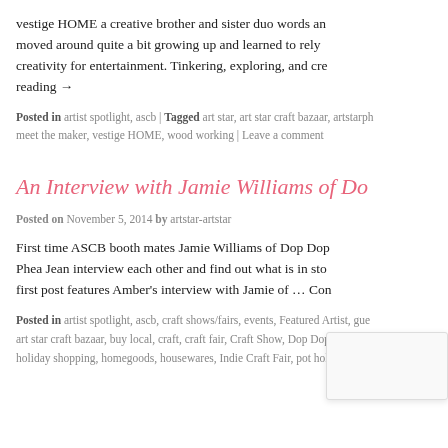vestige HOME a creative brother and sister duo words an... moved around quite a bit growing up and learned to rely on creativity for entertainment. Tinkering, exploring, and cre... reading →
Posted in artist spotlight, ascb | Tagged art star, art star craft bazaar, artstarph... meet the maker, vestige HOME, wood working | Leave a comment
An Interview with Jamie Williams of Do...
Posted on November 5, 2014 by artstar-artstar
First time ASCB booth mates Jamie Williams of Dop Dop... Phea Jean interview each other and find out what is in sto... first post features Amber's interview with Jamie of … Con...
Posted in artist spotlight, ascb, craft shows/fairs, events, Featured Artist, gue... art star craft bazaar, buy local, craft, craft fair, Craft Show, Dop Dop Designs,... holiday shopping, homegoods, housewares, Indie Craft Fair, pot holders, sho...